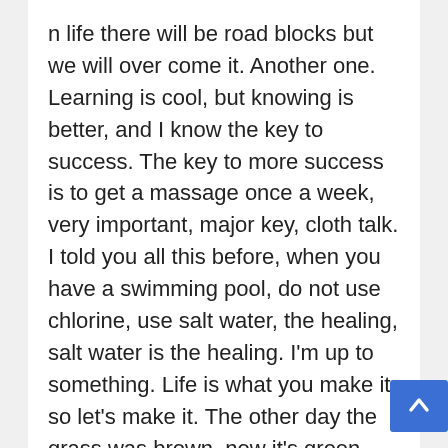n life there will be road blocks but we will over come it. Another one. Learning is cool, but knowing is better, and I know the key to success. The key to more success is to get a massage once a week, very important, major key, cloth talk. I told you all this before, when you have a swimming pool, do not use chlorine, use salt water, the healing, salt water is the healing. I'm up to something. Life is what you make it, so let's make it. The other day the grass was brown, now it's green because I ain't give up. Never surrender.
You see that bamboo behind me though, you see that bamboo? Ain't nothin' like bamboo. Bless up. Another one. Give...